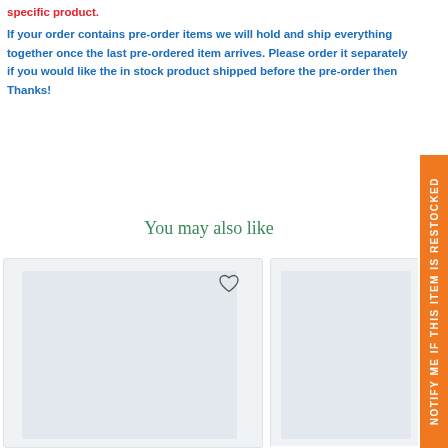specific product.
If your order contains pre-order items we will hold and ship everything together once the last pre-ordered item arrives. Please order it separately if you would like the in stock product shipped before the pre-order then Thanks!
You may also like
[Figure (other): Product card placeholder image (light blue/grey rectangle) with heart icon]
[Figure (other): Second product card placeholder image (light blue/grey rectangle), partially visible]
NOTIFY ME IF THIS ITEM IS RESTOCKED